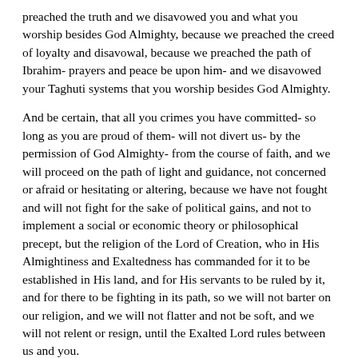preached the truth and we disavowed you and what you worship besides God Almighty, because we preached the creed of loyalty and disavowal, because we preached the path of Ibrahim- prayers and peace be upon him- and we disavowed your Taghuti systems that you worship besides God Almighty.
And be certain, that all you crimes you have committed- so long as you are proud of them- will not divert us- by the permission of God Almighty- from the course of faith, and we will proceed on the path of light and guidance, not concerned or afraid or hesitating or altering, because we have not fought and will not fight for the sake of political gains, and not to implement a social or economic theory or philosophical precept, but the religion of the Lord of Creation, who in His Almightiness and Exaltedness has commanded for it to be established in His land, and for His servants to be ruled by it, and for there to be fighting in its path, so we will not barter on our religion, and we will not flatter and not be soft, and we will not relent or resign, until the Exalted Lord rules between us and you.
So hear it, oh Tawagheet of the world, hear it from us well: we will not lay aside the weapons and the war will not end until there is no more fitna in the land, and religion belongs wholly to God and you are laid low.
And to the brothers, mujahideen of God, and we do not to...